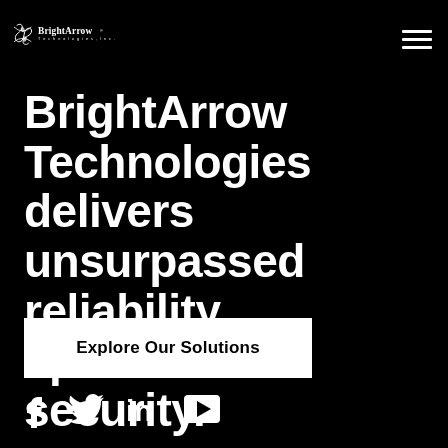[Figure (logo): BrightArrow Technologies, Inc. logo with decorative icon on the left and hamburger menu icon on the right]
BrightArrow Technologies delivers unsurpassed reliability, speed and security.
Explore Our Solutions
[Figure (other): Social media icons row: Facebook, Twitter, LinkedIn, YouTube]